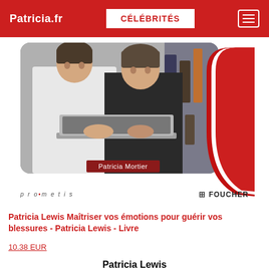Patricia.fr | CÉLÉBRITÉS
[Figure (photo): Book cover showing two men in business attire looking at a laptop computer, with red rounded bracket design, 'Patricia Mortier' label, and publisher logos for prometis and FOUCHER]
Patricia Lewis Maîtriser vos émotions pour guérir vos blessures - Patricia Lewis - Livre
10.38 EUR
Patricia Lewis